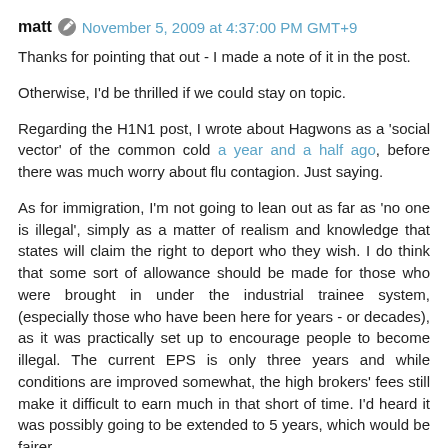matt  November 5, 2009 at 4:37:00 PM GMT+9
Thanks for pointing that out - I made a note of it in the post.
Otherwise, I'd be thrilled if we could stay on topic.
Regarding the H1N1 post, I wrote about Hagwons as a 'social vector' of the common cold a year and a half ago, before there was much worry about flu contagion. Just saying.
As for immigration, I'm not going to lean out as far as 'no one is illegal', simply as a matter of realism and knowledge that states will claim the right to deport who they wish. I do think that some sort of allowance should be made for those who were brought in under the industrial trainee system, (especially those who have been here for years - or decades), as it was practically set up to encourage people to become illegal. The current EPS is only three years and while conditions are improved somewhat, the high brokers' fees still make it difficult to earn much in that short of time. I'd heard it was possibly going to be extended to 5 years, which would be fairer.